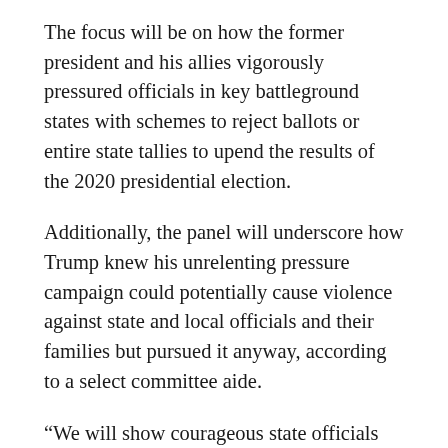The focus will be on how the former president and his allies vigorously pressured officials in key battleground states with schemes to reject ballots or entire state tallies to upend the results of the 2020 presidential election.
Additionally, the panel will underscore how Trump knew his unrelenting pressure campaign could potentially cause violence against state and local officials and their families but pursued it anyway, according to a select committee aide.
“We will show courageous state officials who stood up and said they wouldn’t go along with this plan to either call legislatures back into